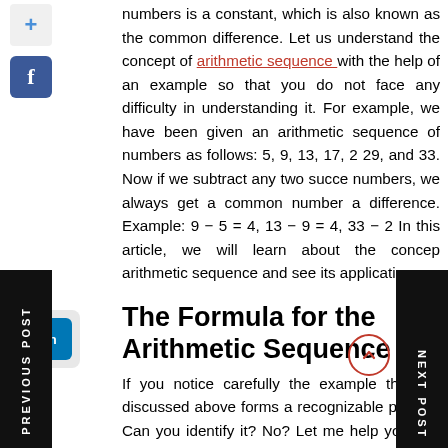numbers is a constant, which is also known as the common difference. Let us understand the concept of arithmetic sequence with the help of an example so that you do not face any difficulty in understanding it. For example, we have been given an arithmetic sequence of numbers as follows: 5, 9, 13, 17, 21, 25, 29, and 33. Now if we subtract any two successive numbers, we always get a common number as a difference. Example: 9 − 5 = 4, 13 − 9 = 4, 33 − 29 = 4. In this article, we will learn about the concept of arithmetic sequence and see its applications.
The Formula for the Arithmetic Sequence
If you notice carefully the example that we discussed above forms a recognizable pattern. Can you identify it? No? Let me help you out. So, the example of the